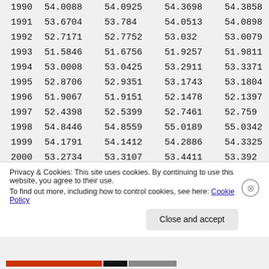| Year | Col1 | Col2 | Col3 | Col4 |
| --- | --- | --- | --- | --- |
| 1990 | 54.0088 | 54.0925 | 54.3698 | 54.3858 |
| 1991 | 53.6704 | 53.784 | 54.0513 | 54.0898 |
| 1992 | 52.7171 | 52.7752 | 53.032 | 53.0079 |
| 1993 | 51.5846 | 51.6756 | 51.9257 | 51.9811 |
| 1994 | 53.0008 | 53.0425 | 53.2911 | 53.3371 |
| 1995 | 52.8706 | 52.9351 | 53.1743 | 53.1804 |
| 1996 | 51.9067 | 51.9151 | 52.1478 | 52.1397 |
| 1997 | 52.4398 | 52.5399 | 52.7461 | 52.759 |
| 1998 | 54.8446 | 54.8559 | 55.0189 | 55.0342 |
| 1999 | 54.1791 | 54.1412 | 54.2886 | 54.3325 |
| 2000 | 53.2734 | 53.3107 | 53.4411 | 53.392 |
Privacy & Cookies: This site uses cookies. By continuing to use this website, you agree to their use. To find out more, including how to control cookies, see here: Cookie Policy